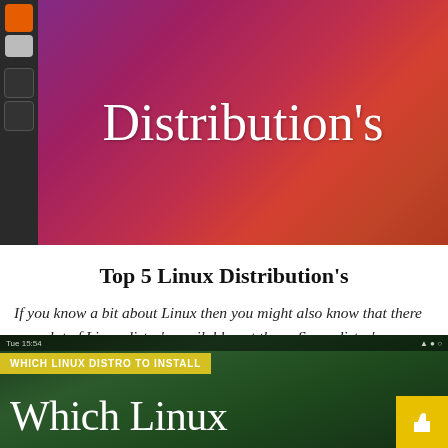[Figure (screenshot): Hero banner image showing Ubuntu Linux distribution with gradient purple-red background and white 'Distribution's' title text, with a dark sidebar on the left showing app icons]
Top 5 Linux Distribution's
If you know a bit about Linux then you might also know that there are a lot of Linux distro's available out there. Some distro's are ...
✏ Aakash Pawar — 📅 5 years ago — 💬 0
Read more »
[Figure (screenshot): Second article thumbnail showing dark green chalkboard background with yellow category badge 'WHICH LINUX DISTRO TO INSTALL', top status bar, large white text 'Which Linux', and yellow thumb icon on bottom right]